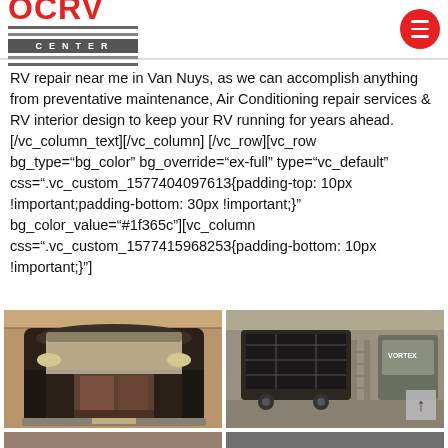[Figure (logo): OCRV Center logo with red lettering and gray CENTER banner with stripes, plus red hamburger menu button]
RV repair near me in Van Nuys, as we can accomplish anything from preventative maintenance, Air Conditioning repair services & RV interior design to keep your RV running for years ahead.[/vc_column_text][/vc_column][/vc_row][vc_row bg_type="bg_color" bg_override="ex-full" type="vc_default" css=".vc_custom_1577404097613{padding-top: 10px !important;padding-bottom: 30px !important;}" bg_color_value="#1f365c"][vc_column css=".vc_custom_1577415968253{padding-bottom: 10px !important;}"]
[Figure (photo): Interior view of an RV with open doors showing a luxury motorhome interior]
[Figure (photo): RV being worked on in a repair shop/warehouse with ladder and other RVs visible]